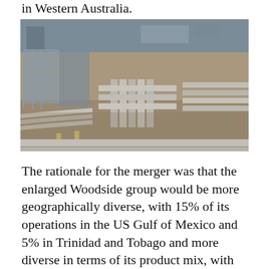in Western Australia.
[Figure (photo): Aerial/overhead view of large industrial pipeline infrastructure at a gas processing facility, showing numerous large-diameter pipes arranged in parallel and right-angle configurations on a gravel/earth surface, with industrial structures and equipment visible in the background.]
The rationale for the merger was that the enlarged Woodside group would be more geographically diverse, with 15% of its operations in the US Gulf of Mexico and 5% in Trinidad and Tobago and more diverse in terms of its product mix, with more of its revenue coming